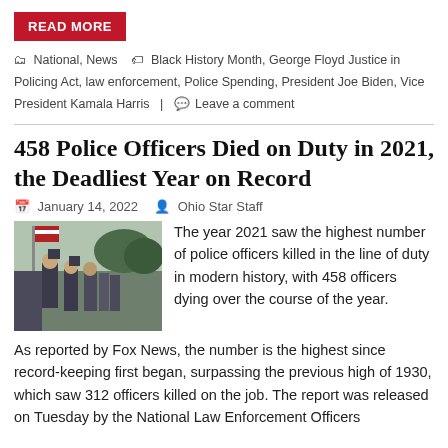READ MORE
National, News  Black History Month, George Floyd Justice in Policing Act, law enforcement, Police Spending, President Joe Biden, Vice President Kamala Harris  Leave a comment
458 Police Officers Died on Duty in 2021, the Deadliest Year on Record
January 14, 2022   Ohio Star Staff
[Figure (photo): Police officers in uniform with flags marching]
The year 2021 saw the highest number of police officers killed in the line of duty in modern history, with 458 officers dying over the course of the year.
As reported by Fox News, the number is the highest since record-keeping first began, surpassing the previous high of 1930, which saw 312 officers killed on the job. The report was released on Tuesday by the National Law Enforcement Officers